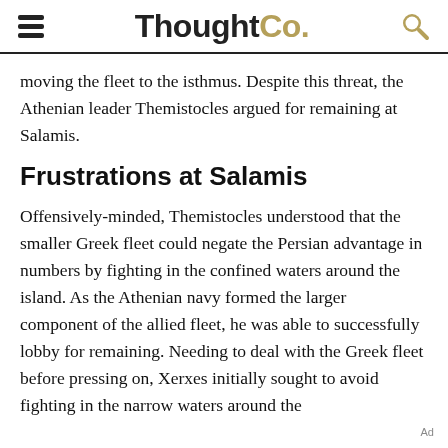ThoughtCo.
moving the fleet to the isthmus. Despite this threat, the Athenian leader Themistocles argued for remaining at Salamis.
Frustrations at Salamis
Offensively-minded, Themistocles understood that the smaller Greek fleet could negate the Persian advantage in numbers by fighting in the confined waters around the island. As the Athenian navy formed the larger component of the allied fleet, he was able to successfully lobby for remaining. Needing to deal with the Greek fleet before pressing on, Xerxes initially sought to avoid fighting in the narrow waters around the
Ad